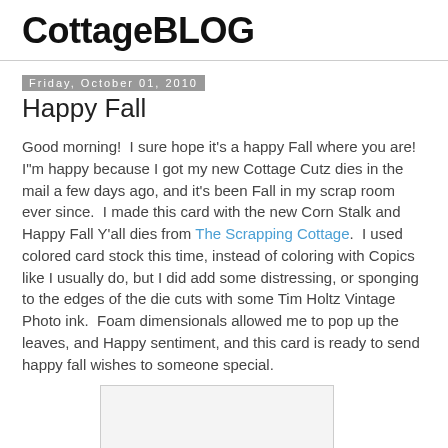CottageBLOG
Friday, October 01, 2010
Happy Fall
Good morning!  I sure hope it's a happy Fall where you are!  I"m happy because I got my new Cottage Cutz dies in the mail a few days ago, and it's been Fall in my scrap room ever since.  I made this card with the new Corn Stalk and Happy Fall Y'all dies from The Scrapping Cottage.  I used colored card stock this time, instead of coloring with Copics like I usually do, but I did add some distressing, or sponging to the edges of the die cuts with some Tim Holtz Vintage Photo ink.  Foam dimensionals allowed me to pop up the leaves, and Happy sentiment, and this card is ready to send happy fall wishes to someone special.
[Figure (photo): Partial image of a handmade fall card visible at the bottom of the page]